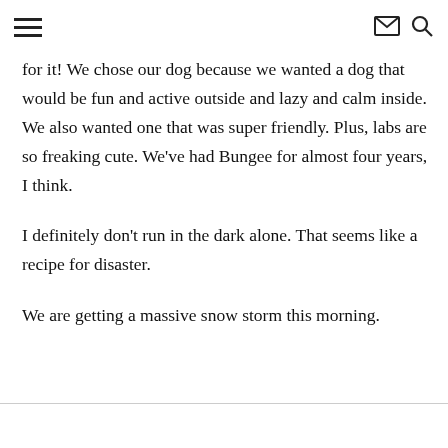≡ ✉ 🔍
for it! We chose our dog because we wanted a dog that would be fun and active outside and lazy and calm inside. We also wanted one that was super friendly. Plus, labs are so freaking cute. We've had Bungee for almost four years, I think.
I definitely don't run in the dark alone. That seems like a recipe for disaster.
We are getting a massive snow storm this morning.